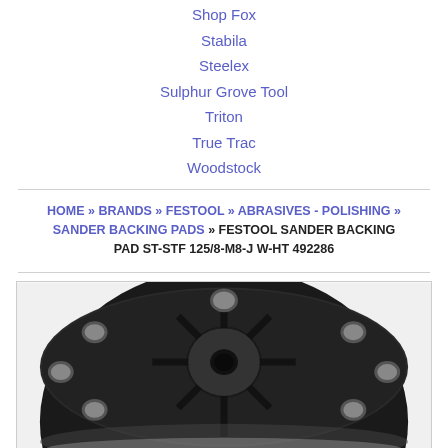Shop Fox
Stabila
Steelex
Sulphur Grove Tool
Triton
True Trac
Woodstock
HOME » BRANDS » FESTOOL » ABRASIVES - POLISHING » SANDER BACKING PADS » FESTOOL SANDER BACKING PAD ST-STF 125/8-M8-J W-HT 492286
[Figure (photo): Top-down view of a round black sander backing pad with radial fins and holes, Festool product ST-STF 125/8-M8-J W-HT 492286]